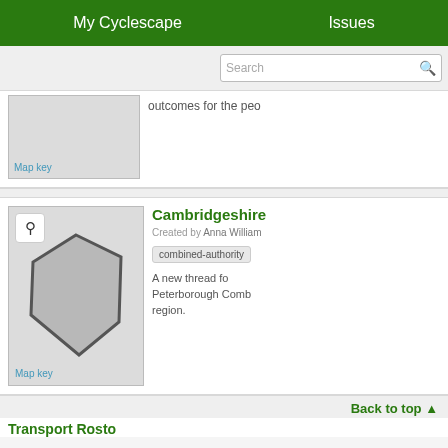My Cyclescape   Issues
[Figure (screenshot): Search bar with placeholder text 'Search' and magnifier icon]
[Figure (map): Partial map thumbnail showing light grey area with 'Map key' label]
outcomes for the peo
[Figure (map): Map thumbnail with magnify icon showing a grey pentagon polygon representing Cambridgeshire region, with 'Map key' label]
Cambridgeshire
Created by Anna William
combined-authority
A new thread fo Peterborough Comb region.
Back to top
Transport Rosta